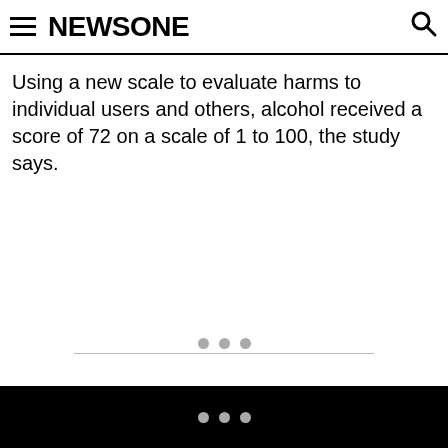NEWSONE
Using a new scale to evaluate harms to individual users and others, alcohol received a score of 72 on a scale of 1 to 100, the study says.